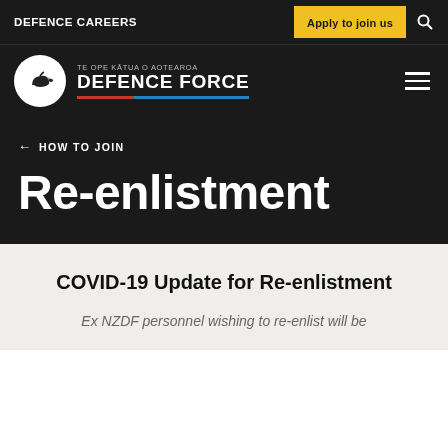DEFENCE CAREERS
Apply to join us
[Figure (logo): New Zealand Defence Force logo: white circle with kiwi silhouette, text 'TE OPE KĀTUA O AOTEAROA DEFENCE FORCE' with red and blue stripes]
← HOW TO JOIN
Re-enlistment
COVID-19 Update for Re-enlistment
Ex NZDF personnel wishing to re-enlist will be